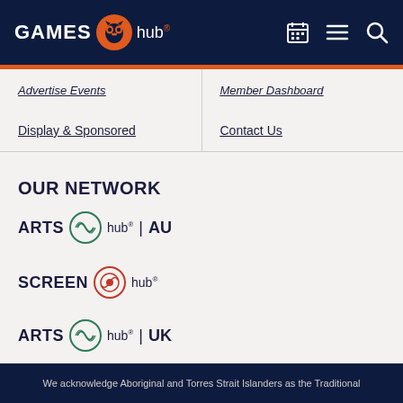[Figure (logo): Games Hub logo with orange circular icon on dark navy background, with calendar, menu and search icons on the right]
Advertise Events
Member Dashboard
Display & Sponsored
Contact Us
OUR NETWORK
[Figure (logo): Arts Hub AU logo - green circular wave icon with text ARTS hub | AU]
[Figure (logo): Screen Hub logo - red circular target icon with text SCREEN hub]
[Figure (logo): Arts Hub UK logo - green circular wave icon with text ARTS hub | UK]
We acknowledge Aboriginal and Torres Strait Islanders as the Traditional